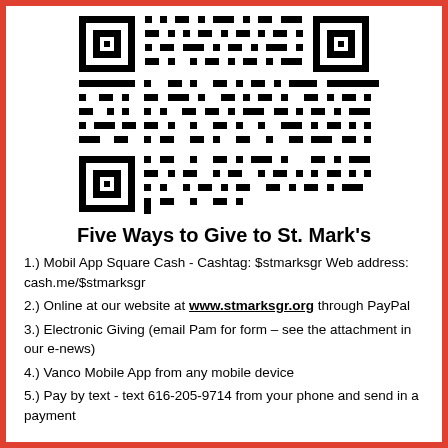[Figure (other): QR code for St. Mark's giving]
Five Ways to Give to St. Mark's
1.)  Mobil App Square Cash - Cashtag: $stmarksgr Web address: cash.me/$stmarksgr
2.) Online at our website at www.stmarksgr.org through PayPal
3.)  Electronic Giving (email Pam for form – see the attachment in our e-news)
4.)  Vanco Mobile App from any mobile device
5.)  Pay by text - text 616-205-9714 from your phone and send in a payment